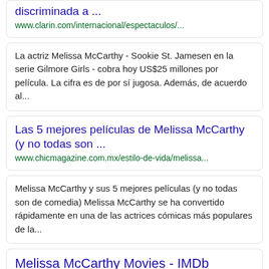discriminada a ...
www.clarin.com/internacional/espectaculos/...
La actriz Melissa McCarthy - Sookie St. Jamesen en la serie Gilmore Girls - cobra hoy US$25 millones por película. La cifra es de por sí jugosa. Además, de acuerdo al...
Las 5 mejores películas de Melissa McCarthy (y no todas son ...
www.chicmagazine.com.mx/estilo-de-vida/melissa...
Melissa McCarthy y sus 5 mejores películas (y no todas son de comedia) Melissa McCarthy se ha convertido rápidamente en una de las actrices cómicas más populares de la...
Melissa McCarthy Movies - IMDb
www.imdb.com/list/ls023412862
Mild mannered businessman Sandy Patterson travels from Denver to Florida to confront the deceptively harmless looking